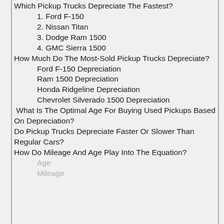Which Pickup Trucks Depreciate The Fastest?
1. Ford F-150
2. Nissan Titan
3. Dodge Ram 1500
4. GMC Sierra 1500
How Much Do The Most-Sold Pickup Trucks Depreciate?
Ford F-150 Depreciation
Ram 1500 Depreciation
Honda Ridgeline Depreciation
Chevrolet Silverado 1500 Depreciation
What Is The Optimal Age For Buying Used Pickups Based On Depreciation?
Do Pickup Trucks Depreciate Faster Or Slower Than Regular Cars?
How Do Mileage And Age Play Into The Equation?
Age
Mileage